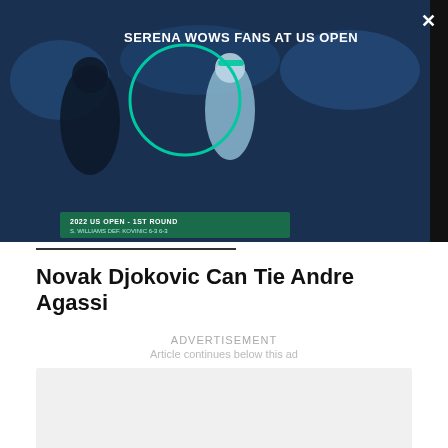[Figure (screenshot): Video thumbnail showing tennis players (Serena Williams) at the 2022 US Open 1st Round with a teal circle highlight overlay and scoreboard reading '2022 US OPEN - 1ST ROUND / S. WILLIAMS DEF. KOVINIC 6-3 6-3'. Dark panel on right with close button and title.]
SERENA WOWS FANS AT US OPEN
Novak Djokovic Can Tie Andre Agassi
ADVERTISEMENT
Article continues below this ad